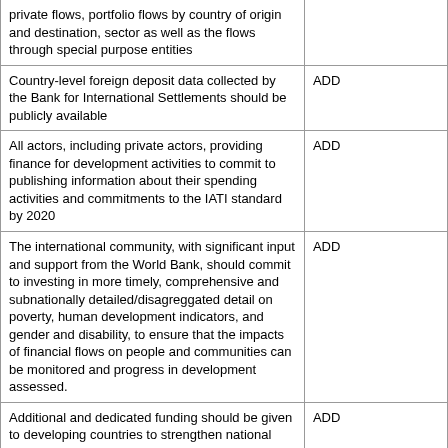| Recommendation | Action |
| --- | --- |
| private flows, portfolio flows by country of origin and destination, sector as well as the flows through special purpose entities |  |
| Country-level foreign deposit data collected by the Bank for International Settlements should be publicly available | ADD |
| All actors, including private actors, providing finance for development activities to commit to publishing information about their spending activities and commitments to the IATI standard by 2020 | ADD |
| The international community, with significant input and support from the World Bank, should commit to investing in more timely, comprehensive and subnationally detailed/disagreggated detail on poverty, human development indicators, and gender and disability, to ensure that the impacts of financial flows on people and communities can be monitored and progress in development assessed. | ADD |
| Additional and dedicated funding should be given to developing countries to strengthen national statistical systems, and for capacity building in data collection, use and analysis, in order that the impacts of financial interventions on populations can be assessed and national budgetary allocations for development planned | ADD |